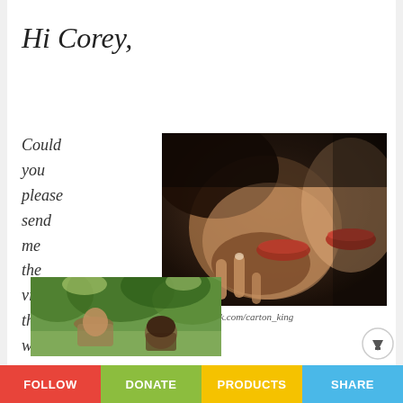Hi Corey,
Could you please send me the video that will
[Figure (photo): Close-up photo of two people about to kiss, dramatic dark lighting, man with stubble and woman's lips visible]
Photo by iStock.com/carton_king
[Figure (photo): Outdoor photo of two people in a park or garden setting with trees in background]
FOLLOW  DONATE  PRODUCTS  SHARE